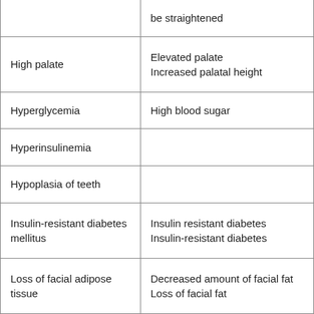|  | be straightened |
| High palate | Elevated palate
Increased palatal height |
| Hyperglycemia | High blood sugar |
| Hyperinsulinemia |  |
| Hypoplasia of teeth |  |
| Insulin-resistant diabetes mellitus | Insulin resistant diabetes
Insulin-resistant diabetes |
| Loss of facial adipose tissue | Decreased amount of facial fat
Loss of facial fat |